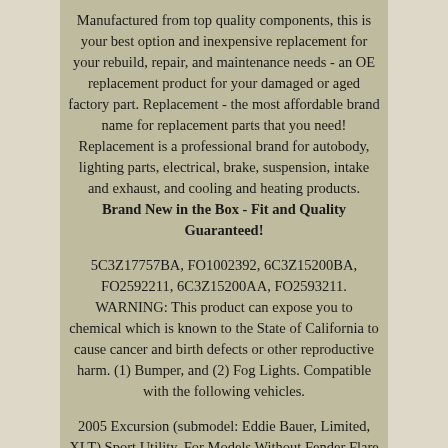Manufactured from top quality components, this is your best option and inexpensive replacement for your rebuild, repair, and maintenance needs - an OE replacement product for your damaged or aged factory part. Replacement - the most affordable brand name for replacement parts that you need! Replacement is a professional brand for autobody, lighting parts, electrical, brake, suspension, intake and exhaust, and cooling and heating products. Brand New in the Box - Fit and Quality Guaranteed!
5C3Z17757BA, FO1002392, 6C3Z15200BA, FO2592211, 6C3Z15200AA, FO2593211. WARNING: This product can expose you to chemical which is known to the State of California to cause cancer and birth defects or other reproductive harm. (1) Bumper, and (2) Fog Lights. Compatible with the following vehicles.
2005 Excursion (submodel: Eddie Bauer, Limited, XLT) Sport Utility, For Models Without Fender Flare Holes. This item is in the category "eBay Motors\Parts & Accessories\Car & Truck Parts & Accessories\Exterior Parts & Accessories\Bumpers &